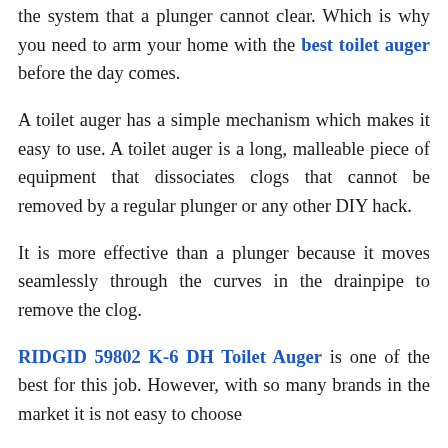At times your toilet might get a clog deep into the system that a plunger cannot clear. Which is why you need to arm your home with the best toilet auger before the day comes.
A toilet auger has a simple mechanism which makes it easy to use. A toilet auger is a long, malleable piece of equipment that dissociates clogs that cannot be removed by a regular plunger or any other DIY hack.
It is more effective than a plunger because it moves seamlessly through the curves in the drainpipe to remove the clog.
RIDGID 59802 K-6 DH Toilet Auger is one of the best for this job. However, with so many brands in the market it is not easy to choose...